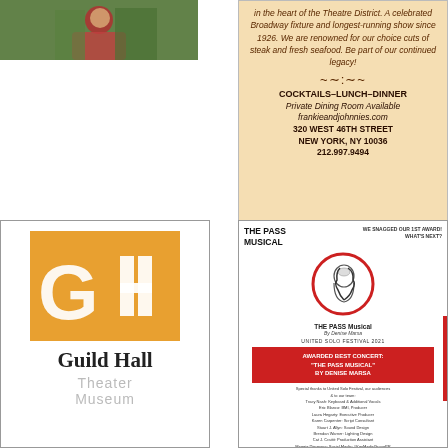[Figure (photo): Photo of a person in a red garment outdoors, top-left corner]
[Figure (illustration): Frankie & Johnnies restaurant advertisement on tan/wheat background. Text reads: in the heart of the Theatre District. A celebrated Broadway fixture and longest-running show since 1926. We are renowned for our choice cuts of steak and fresh seafood. Be part of our continued legacy! COCKTAILS–LUNCH–DINNER Private Dining Room Available frankieandjohnnies.com 320 WEST 46TH STREET NEW YORK, NY 10036 212.997.9494]
[Figure (logo): Guild Hall Theater Museum logo. Orange square with white G and H letterforms, beneath which reads Guild Hall in large serif type, and Theater Museum in gray below.]
[Figure (illustration): The Pass Musical advertisement. Header: THE PASS MUSICAL / WE SNAGGED OUR 1ST AWARD! WHAT'S NEXT? Circle illustration of a face profile. THE PASS Musical by Denise Marsa. UNITED SOLO FESTIVAL 2021. Red box: AWARDED BEST CONCERT: THE PASS MUSICAL BY DENISE MARSA. Credits listing. VISIT THEPASSMUSICAL.COM FOR UPDATES & MORE]